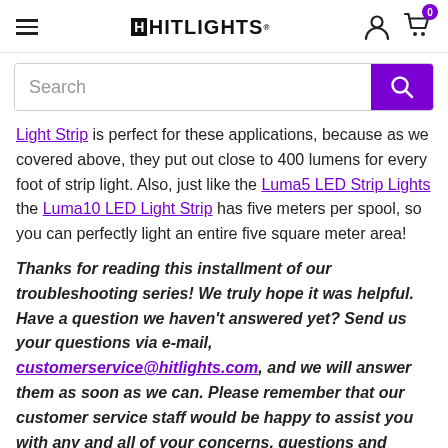HitLights navigation header with search bar
Light Strip is perfect for these applications, because as we covered above, they put out close to 400 lumens for every foot of strip light. Also, just like the Luma5 LED Strip Lights the Luma10 LED Light Strip has five meters per spool, so you can perfectly light an entire five square meter area!
Thanks for reading this installment of our troubleshooting series! We truly hope it was helpful. Have a question we haven't answered yet? Send us your questions via e-mail, customerservice@hitlights.com, and we will answer them as soon as we can. Please remember that our customer service staff would be happy to assist you with any and all of your concerns, questions and suggestions. Contact the team directly at (225)